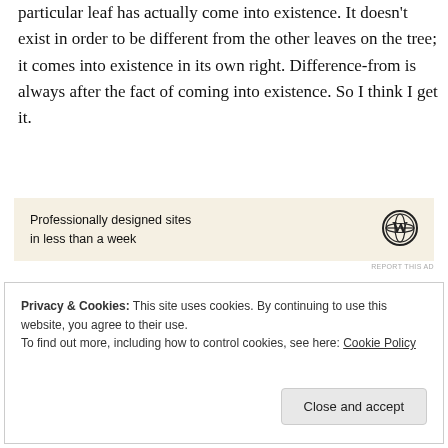particular leaf has actually come into existence. It doesn't exist in order to be different from the other leaves on the tree; it comes into existence in its own right. Difference-from is always after the fact of coming into existence. So I think I get it.
[Figure (other): Advertisement banner with beige background showing 'Professionally designed sites in less than a week' and WordPress logo]
REPORT THIS AD
Privacy & Cookies: This site uses cookies. By continuing to use this website, you agree to their use. To find out more, including how to control cookies, see here: Cookie Policy
Close and accept